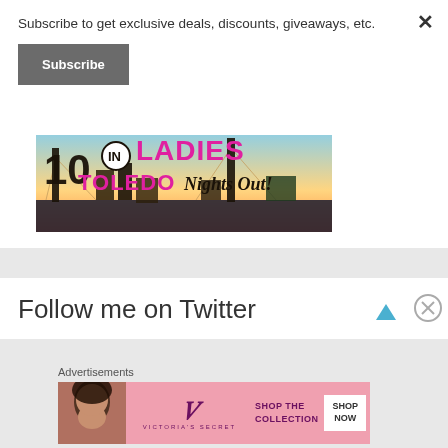Subscribe to get exclusive deals, discounts, giveaways, etc.
Subscribe
[Figure (illustration): Toledo Ladies Nights Out banner with city skyline, bridge silhouette, and bold text reading '10 IN TOLEDO LADIES Nights Out!' in black and magenta/pink colors]
Follow me on Twitter
Advertisements
[Figure (illustration): Victoria's Secret advertisement banner on pink background. Shows a woman's face on the left, Victoria's Secret logo and name in center, text 'SHOP THE COLLECTION' and a white button 'SHOP NOW' on the right.]